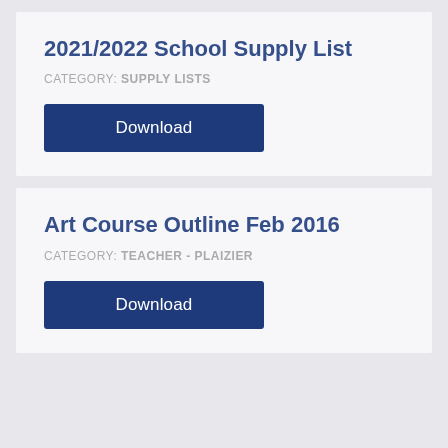2021/2022 School Supply List
CATEGORY: SUPPLY LISTS
Download
Art Course Outline Feb 2016
CATEGORY: TEACHER - PLAIZIER
Download